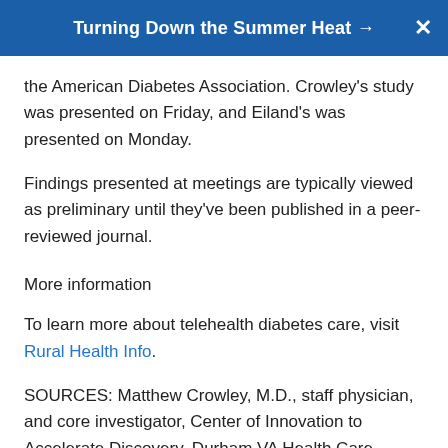Turning Down the Summer Heat →
the American Diabetes Association. Crowley's study was presented on Friday, and Eiland's was presented on Monday.
Findings presented at meetings are typically viewed as preliminary until they've been published in a peer-reviewed journal.
More information
To learn more about telehealth diabetes care, visit Rural Health Info.
SOURCES: Matthew Crowley, M.D., staff physician, and core investigator, Center of Innovation to Accelerate Discovery, Durham VA Health Care System, and associate professor, medicine, Duke Clinical Research Institute, Durham, N.C.; Leslie Eiland, M.D.